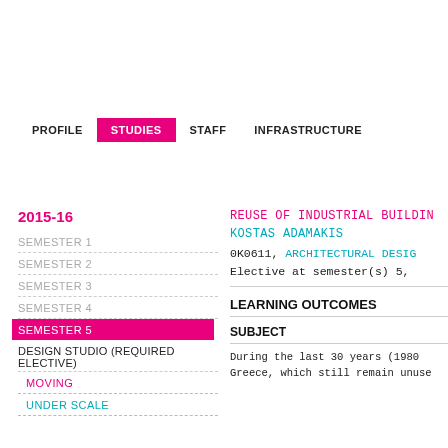PROFILE   STUDIES   STAFF   INFRASTRUCTURE
2015-16
SEMESTER 1
SEMESTER 2
SEMESTER 3
SEMESTER 4
SEMESTER 5
DESIGN STUDIO (REQUIRED ELECTIVE)
MOVING
UNDER SCALE
REUSE OF INDUSTRIAL BUILDIN...
KOSTAS ADAMAKIS
0K0611, ARCHITECTURAL DESIG... Elective at semester(s) 5,
LEARNING OUTCOMES
SUBJECT
During the last 30 years (1980 Greece, which still remain unuse